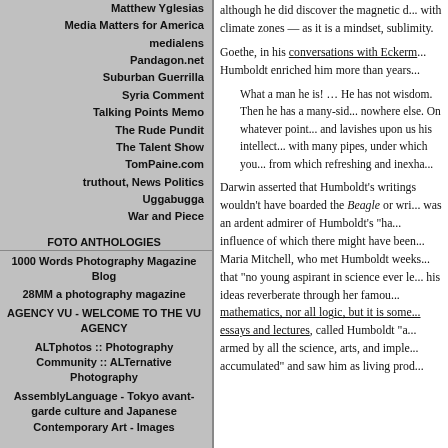Matthew Yglesias
Media Matters for America
medialens
Pandagon.net
Suburban Guerrilla
Syria Comment
Talking Points Memo
The Rude Pundit
The Talent Show
TomPaine.com
truthout, News Politics
Uggabugga
War and Piece
FOTO ANTHOLOGIES
1000 Words Photography Magazine Blog
28MM a photography magazine
AGENCY VU - WELCOME TO THE VU AGENCY
ALTphotos :: Photography Community :: ALTernative Photography
AssemblyLanguage - Tokyo avant-garde culture and Japanese Contemporary Art - Images
although he did discover the magnetic d... with climate zones — as it is a mindset, sublimity.
Goethe, in his conversations with Eckerm... Humboldt enriched him more than years...
What a man he is! … He has not wisdom. Then he has a many-sid... nowhere else. On whatever point... and lavishes upon us his intellect... with many pipes, under which you... from which refreshing and inexha...
Darwin asserted that Humboldt's writings wouldn't have boarded the Beagle or wri... was an ardent admirer of Humboldt's "ha... influence of which there might have been... Maria Mitchell, who met Humboldt weeks... that "no young aspirant in science ever le... his ideas reverberate through her famou... mathematics, nor all logic, but it is some... essays and lectures, called Humboldt "a... armed by all the science, arts, and imple... accumulated" and saw him as living prod...